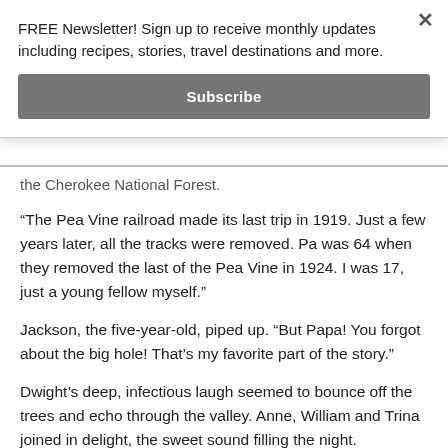FREE Newsletter! Sign up to receive monthly updates including recipes, stories, travel destinations and more.
Subscribe
the Cherokee National Forest.
“The Pea Vine railroad made its last trip in 1919. Just a few years later, all the tracks were removed. Pa was 64 when they removed the last of the Pea Vine in 1924. I was 17, just a young fellow myself.”
Jackson, the five-year-old, piped up. “But Papa! You forgot about the big hole! That’s my favorite part of the story.”
Dwight’s deep, infectious laugh seemed to bounce off the trees and echo through the valley. Anne, William and Trina joined in delight, the sweet sound filling the night.